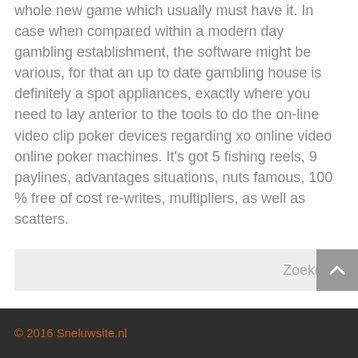whole new game which usually must have it. In case when compared within a modern day gambling establishment, the software might be various, for that an up to date gambling house is definitely a spot appliances, exactly where you need to lay anterior to the tools to do the on-line video clip poker devices regarding xo online video online poker machines. It's got 5 fishing reels, 9 paylines, advantages situations, nuts famous, 100 % free of cost re-writes, multipliers, as well as scatters.
Zoeken
© 2016 Sneluwsite.nl